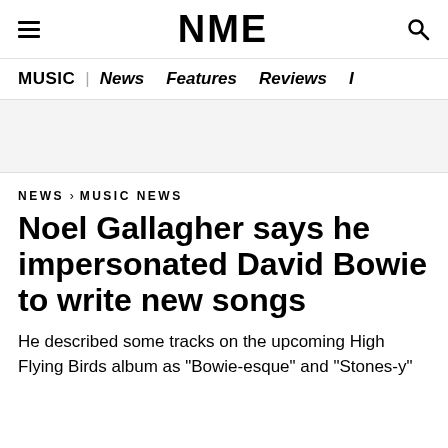≡ NME 🔍
MUSIC | News Features Reviews I
NEWS › MUSIC NEWS
Noel Gallagher says he impersonated David Bowie to write new songs
He described some tracks on the upcoming High Flying Birds album as "Bowie-esque" and "Stones-y"